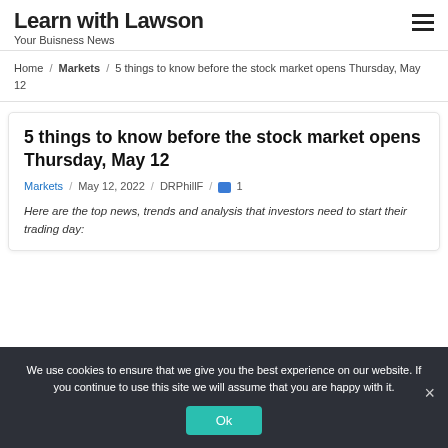Learn with Lawson
Your Buisness News
Home / Markets / 5 things to know before the stock market opens Thursday, May 12
5 things to know before the stock market opens Thursday, May 12
Markets / May 12, 2022 / DRPhillF / 1
Here are the top news, trends and analysis that investors need to start their trading day:
We use cookies to ensure that we give you the best experience on our website. If you continue to use this site we will assume that you are happy with it.